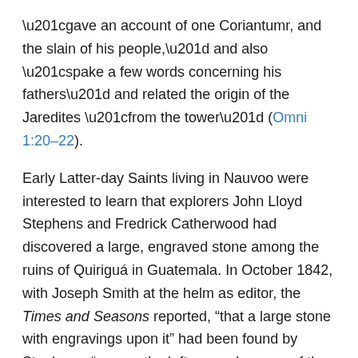“gave an account of one Coriantumr, and the slain of his people,” and also “spake a few words concerning his fathers” and related the origin of the Jaredites “from the tower” (Omni 1:20–22).
Early Latter-day Saints living in Nauvoo were interested to learn that explorers John Lloyd Stephens and Fredrick Catherwood had discovered a large, engraved stone among the ruins of Quiriguá in Guatemala. In October 1842, with Joseph Smith at the helm as editor, the Times and Seasons reported, “that a large stone with engravings upon it” had been found by Stephens, “among the left remembrances of the, (to him), lost and unknown.”¹ This was seen as favorable evidence for the Book